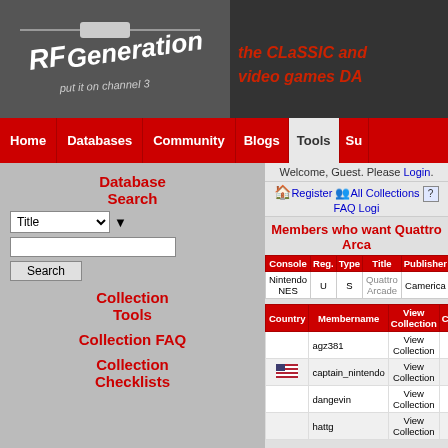[Figure (logo): RF Generation logo with tagline 'put it on channel 3' and site tagline 'the classic and... video games DA...']
Home | Databases | Community | Blogs | Tools | Su...
Database Search
Title [dropdown] [text input] Search
Collection Tools
Collection FAQ
Collection Checklists
Welcome, Guest. Please Login.
Register | All Collections | FAQ Logi...
Members who want Quattro Arca...
| Console | Reg. | Type | Title | Publisher | Year | G... |
| --- | --- | --- | --- | --- | --- | --- |
| Nintendo NES | U | S | Quattro Arcade | Camerica | 1991 | Action/... |
| Country | Membername | View Collection | Comments | Qty | ... |
| --- | --- | --- | --- | --- | --- |
|  | agz381 | View Collection |  | 1 |  |
| 🇺🇸 | captain_nintendo | View Collection |  | 0 |  |
|  | dangevin | View Collection |  | 0 |  |
|  | hattg | View Collection |  | 0 |  |